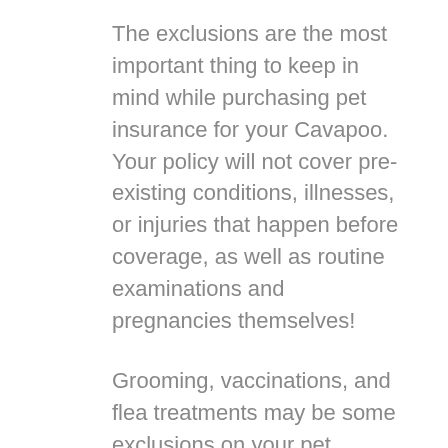The exclusions are the most important thing to keep in mind while purchasing pet insurance for your Cavapoo. Your policy will not cover pre-existing conditions, illnesses, or injuries that happen before coverage, as well as routine examinations and pregnancies themselves!
Grooming, vaccinations, and flea treatments may be some exclusions on your pet insurance plan. However, you may still get the care that includes these things at an additional cost if they are not covered by the policy or through another form of coverage.
You may be surprised to learn that many pet insurance policies do not cover dental treatment, so if you plan on getting this type of care for your